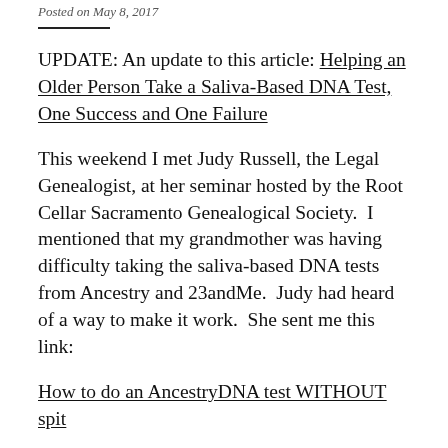Posted on May 8, 2017
UPDATE: An update to this article: Helping an Older Person Take a Saliva-Based DNA Test, One Success and One Failure
This weekend I met Judy Russell, the Legal Genealogist, at her seminar hosted by the Root Cellar Sacramento Genealogical Society.  I mentioned that my grandmother was having difficulty taking the saliva-based DNA tests from Ancestry and 23andMe.  Judy had heard of a way to make it work.  She sent me this link:
How to do an AncestryDNA test WITHOUT spit